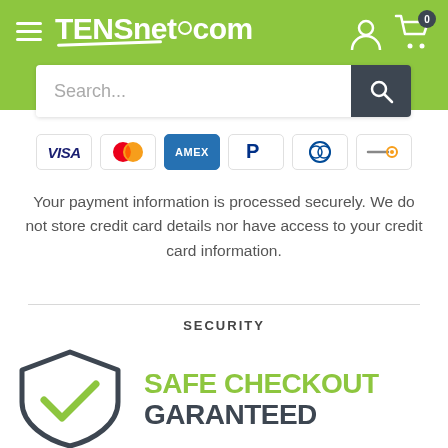TENSnet.com
[Figure (screenshot): Search input bar with magnifying glass button]
[Figure (infographic): Payment method icons: VISA, Mastercard, AMEX, PayPal, Diners Club, another payment method]
Your payment information is processed securely. We do not store credit card details nor have access to your credit card information.
SECURITY
[Figure (illustration): Shield with checkmark icon indicating safe checkout]
SAFE CHECKOUT GARANTEED